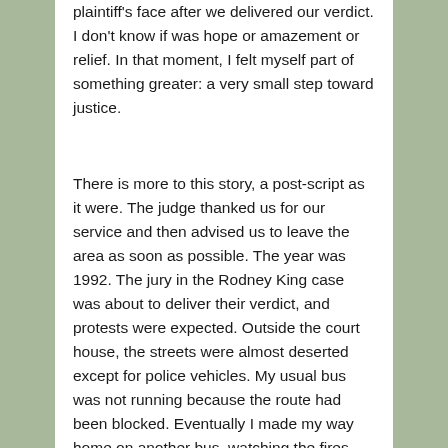plaintiff's face after we delivered our verdict. I don't know if was hope or amazement or relief. In that moment, I felt myself part of something greater: a very small step toward justice.
There is more to this story, a post-script as it were. The judge thanked us for our service and then advised us to leave the area as soon as possible. The year was 1992. The jury in the Rodney King case was about to deliver their verdict, and protests were expected. Outside the court house, the streets were almost deserted except for police vehicles. My usual bus was not running because the route had been blocked. Eventually I made my way home on another bus, watching the fires from the freeway.
I'd like to think that what I did, that infinitesimal step towards a more just society, made a difference. The temptation, though, is to become discouraged and stop trying. I've learned since that giving up is a luxury born of white privilege. My Black friends don't get to take a vacation